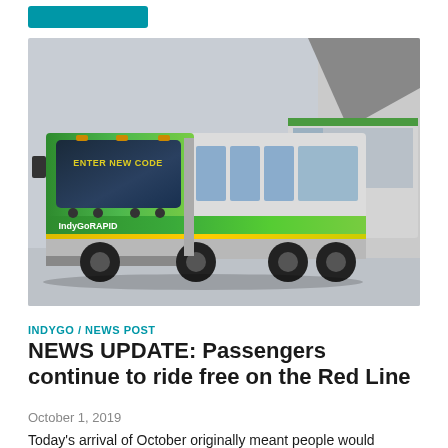[Figure (photo): IndyGo RAPID articulated bus parked in a lot, green and white color scheme with 'ENTER NEW CODE' on destination sign and 'IndyGoRAPID' branding on the side]
INDYGO / NEWS POST
NEWS UPDATE: Passengers continue to ride free on the Red Line
October 1, 2019
Today's arrival of October originally meant people would